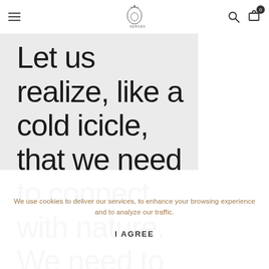[Navigation bar with hamburger menu, logo, search, and cart icons]
Let us realize, like a cold icicle, that we need to connect with nature. We need to connect to the motherland in some way. These objects serve this purpose to
We use cookies to deliver our services, to enhance your browsing experience and to analyze our traffic.
I AGREE